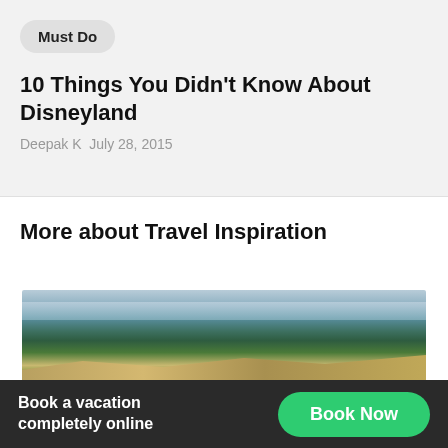Must Do
10 Things You Didn't Know About Disneyland
Deepak K  July 28, 2015
More about Travel Inspiration
[Figure (photo): Aerial panoramic view of a river winding through green forested hills and sandy riverbanks]
Book a vacation completely online
Book Now